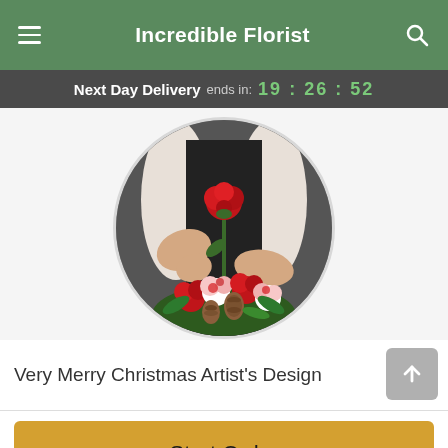Incredible Florist
Next Day Delivery ends in: 19 : 26 : 52
[Figure (photo): Circular photo of a person in a black shirt holding a red rose and a bouquet of red and white carnations with pine cones and greenery.]
Very Merry Christmas Artist's Design
Start Order